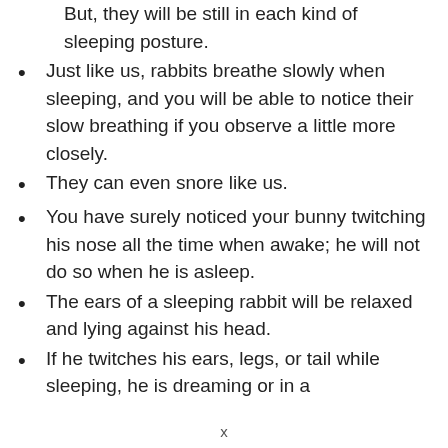But, they will be still in each kind of sleeping posture.
Just like us, rabbits breathe slowly when sleeping, and you will be able to notice their slow breathing if you observe a little more closely.
They can even snore like us.
You have surely noticed your bunny twitching his nose all the time when awake; he will not do so when he is asleep.
The ears of a sleeping rabbit will be relaxed and lying against his head.
If he twitches his ears, legs, or tail while sleeping, he is dreaming or in a
x